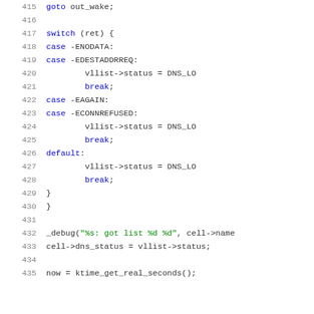[Figure (screenshot): Source code listing showing lines 415-435 of a C kernel source file. Code shows a switch statement handling DNS lookup status cases (ENODATA, EDESTADDRREQ, EAGAIN, ECONNREFUSED, default), followed by a _debug call and cell->dns_status assignment, ending with ktime_get_real_seconds() call.]